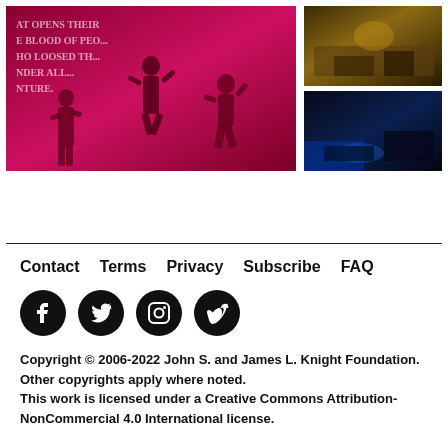[Figure (photo): Pink/magenta-tinted photo of people on a stage with text on a wall behind them]
[Figure (photo): Two stacked photos on right: top shows warm-toned scene, bottom shows dark blue-lit scene]
Contact   Terms   Privacy   Subscribe   FAQ
[Figure (other): Social media icons: Facebook, Twitter, Instagram, Vimeo]
Copyright © 2006-2022 John S. and James L. Knight Foundation. Other copyrights apply where noted. This work is licensed under a Creative Commons Attribution-NonCommercial 4.0 International license.